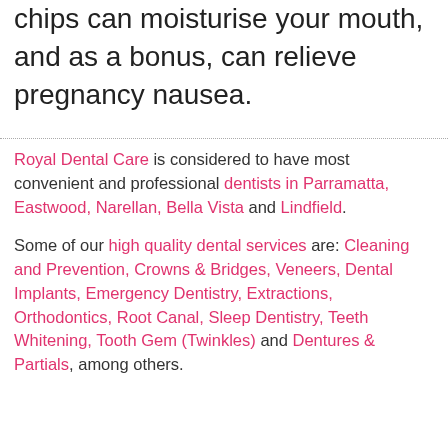chips can moisturise your mouth, and as a bonus, can relieve pregnancy nausea.
Royal Dental Care is considered to have most convenient and professional dentists in Parramatta, Eastwood, Narellan, Bella Vista and Lindfield.
Some of our high quality dental services are: Cleaning and Prevention, Crowns & Bridges, Veneers, Dental Implants, Emergency Dentistry, Extractions, Orthodontics, Root Canal, Sleep Dentistry, Teeth Whitening, Tooth Gem (Twinkles) and Dentures & Partials, among others.